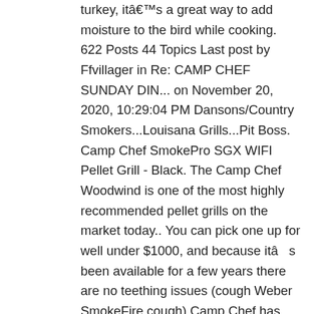turkey, itâs a great way to add moisture to the bird while cooking. 622 Posts 44 Topics Last post by Ffvillager in Re: CAMP CHEF SUNDAY DIN... on November 20, 2020, 10:29:04 PM Dansons/Country Smokers...Louisana Grills...Pit Boss. Camp Chef SmokePro SGX WIFI Pellet Grill - Black. The Camp Chef Woodwind is one of the most highly recommended pellet grills on the market today.. You can pick one up for well under $1000, and because itâs been available for a few years there are no teething issues (cough Weber SmokeFire cough).Camp Chef has continued to improve the grill with the release â¦ The REC TEC is a tough grill to follow but the Camp Chef Woodwind Pellet Grill does a pretty good job at staying competitive. We purchased the Camp Chef SmokePro DLX Pellet Grill so our reviewer could put it to the test. Product Title Camp Chef Smoke ProDLX Pellet Grill Average Rating: